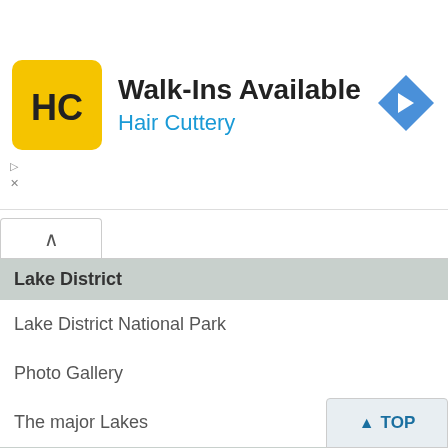[Figure (infographic): Hair Cuttery advertisement banner with logo, 'Walk-Ins Available' heading, blue 'Hair Cuttery' subheading, and navigation arrow icon]
Lake District
Lake District National Park
Photo Gallery
The major Lakes
Canvas Prints
Lake District Prints
Travel Resources
Ordnance Survey maps